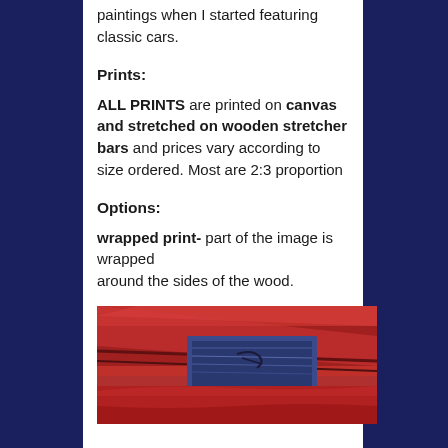paintings when I started featuring classic cars.
Prints:
ALL PRINTS are printed on canvas and stretched on wooden stretcher bars and prices vary according to size ordered. Most are 2:3 proportion
Options:
wrapped print- part of the image is wrapped around the sides of the wood.
[Figure (photo): Close-up photo of a colorful wrapped canvas print showing red and blue tones, depicting what appears to be a classic car painting wrapped around wooden stretcher bars.]